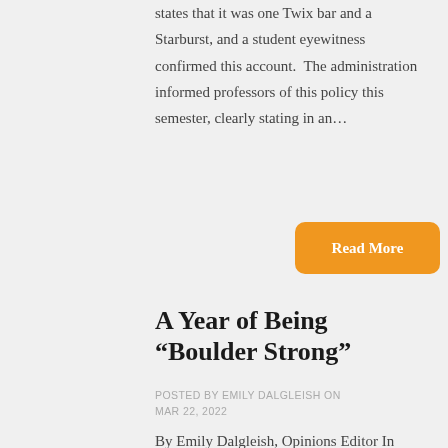states that it was one Twix bar and a Starburst, and a student eyewitness confirmed this account.  The administration informed professors of this policy this semester, clearly stating in an…
Read More
A Year of Being “Boulder Strong”
POSTED BY EMILY DALGLEISH ON MAR 22, 2022
By Emily Dalgleish, Opinions Editor In high school, the King Soopers grocery store was home base. It was